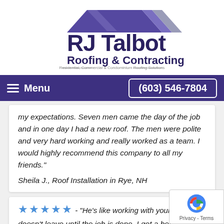[Figure (logo): RJ Talbot Roofing & Contracting logo with purple roof/house graphic and text 'Residential, Commercial & Condominium Roofing Solutions']
≡ Menu   (603) 546-7804
my expectations. Seven men came the day of the job and in one day I had a new roof. The men were polite and very hard working and really worked as a team. I would highly recommend this company to all my friends."
Sheila J., Roof Installation in Rye, NH
★★★★★ - "He's like working with your brother doesn't leave until the job is done. I got a better pr than I expected. He was so easy to deal with."